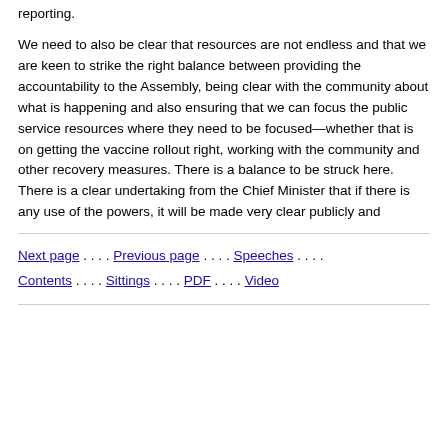reporting.
We need to also be clear that resources are not endless and that we are keen to strike the right balance between providing the accountability to the Assembly, being clear with the community about what is happening and also ensuring that we can focus the public service resources where they need to be focused—whether that is on getting the vaccine rollout right, working with the community and other recovery measures. There is a balance to be struck here. There is a clear undertaking from the Chief Minister that if there is any use of the powers, it will be made very clear publicly and
Next page . . . . Previous page . . . . Speeches . . . . Contents . . . . Sittings . . . . PDF . . . . Video